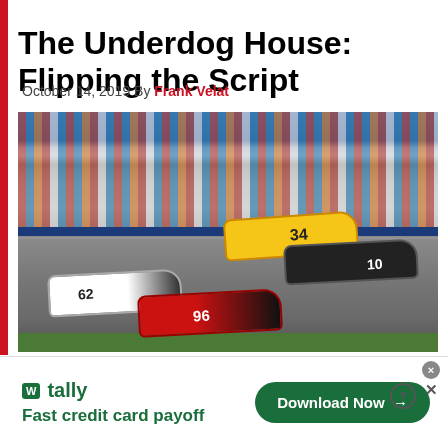The Underdog House: Flipping the Script
October 14, 2019 By Frank Velat
[Figure (photo): Four NASCAR stock cars racing on a track with grandstands full of spectators in the background. Cars visible include numbers 34 (yellow, Loves sponsor), 10 (black, Smithfield sponsor), 62 (white/black), and 96 (red/black, Parts & Service sponsor).]
W tally Fast credit card payoff  Download Now →